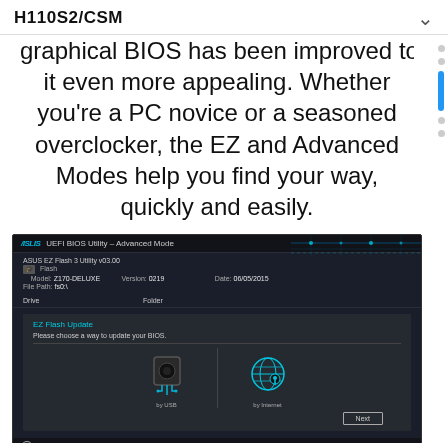H110S2/CSM
graphical BIOS has been improved to make it even more appealing. Whether you're a PC novice or a seasoned overclocker, the EZ and Advanced Modes help you find your way, quickly and easily.
[Figure (screenshot): ASUS UEFI BIOS Utility Advanced Mode screenshot showing EZ Flash 3 Utility v03.00 with options to update BIOS by USB or by Internet, model Z170-DELUXE, Version 0219, Date 06/05/2015]